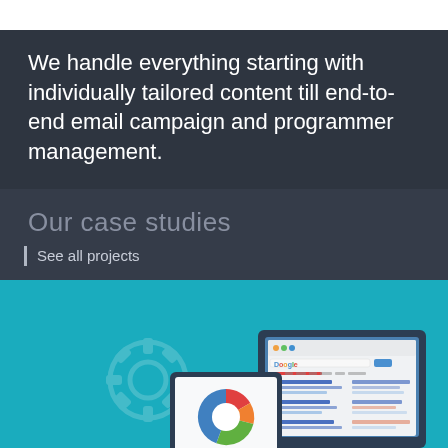We handle everything starting with individually tailored content till end-to-end email campaign and programmer management.
Our case studies
See all projects
[Figure (illustration): Flat style illustration on teal background showing a desktop computer displaying a Google search results page and a tablet/iPad showing a colorful donut/pie chart, with gear icons in the background.]